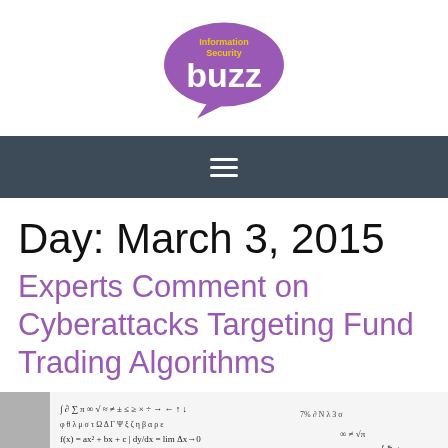[Figure (logo): Information Security Buzz logo — purple speech bubble with 'buzz' in white and 'Information Security' in yellow text above]
[Figure (other): Dark grey navigation bar with white hamburger menu icon (three horizontal lines)]
Day: March 3, 2015
Experts Comment on Cyberattacks Targeting Fund Trading Algorithms
[Figure (photo): Partial image showing mathematical formulas and symbols against a background, with a grey border on the left]